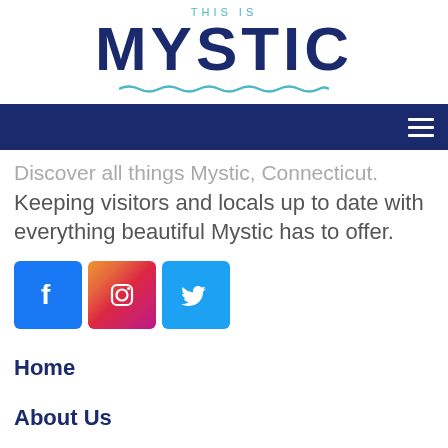THIS IS MYSTIC
[Figure (logo): Navigation bar with hamburger menu icon on dark navy background]
Discover all things Mystic, Connecticut. Keeping visitors and locals up to date with everything beautiful Mystic has to offer.
[Figure (infographic): Social media icons: Facebook (blue square with f), Instagram (gradient square with camera icon), Twitter (light blue square with bird icon)]
Home
About Us
Contact
Our Sponsors
Advertising